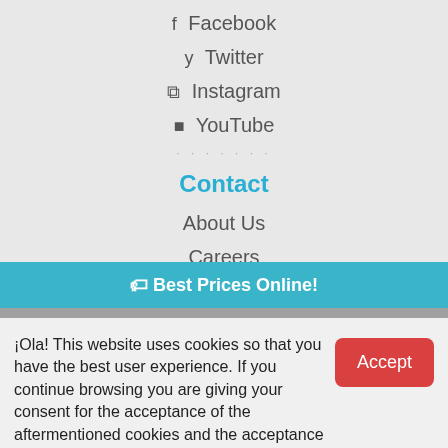f  Facebook
y  Twitter
◎  Instagram
▶  YouTube
Contact
About Us
Careers
Groups Inquiry
FAQ
🏷 Best Prices Online!
¡Ola! This website uses cookies so that you have the best user experience. If you continue browsing you are giving your consent for the acceptance of the aftermentioned cookies and the acceptance of our cookies policy